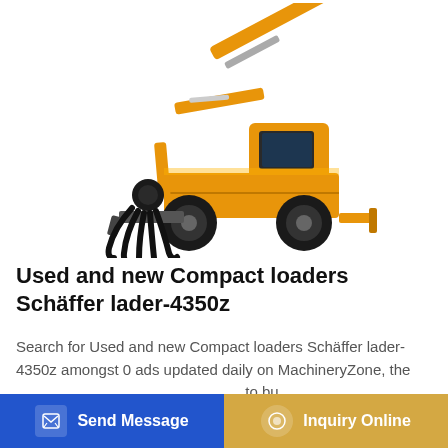[Figure (photo): Orange wheeled excavator with a grapple claw attachment and a blade at the front, shown on white background]
Used and new Compact loaders Schäffer lader-4350z
Search for Used and new Compact loaders Schäffer lader-4350z amongst 0 ads updated daily on MachineryZone, the ... to bu...
Send Message
Inquiry Online